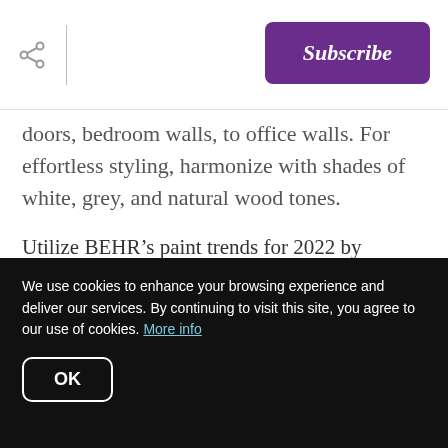Subscribe
doors, bedroom walls, to office walls. For effortless styling, harmonize with shades of white, grey, and natural wood tones.
Utilize BEHR’s paint trends for 2022 by decorating:
Flexible spaces (suggested colors include Laural Tree, Perfect Penny, Cracked Pepper, and Lunar Surface)
We use cookies to enhance your browsing experience and deliver our services. By continuing to visit this site, you agree to our use of cookies. More info
OK